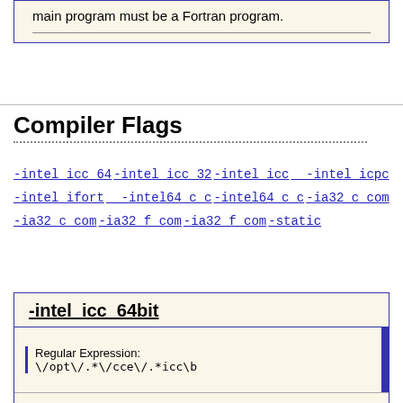main program must be a Fortran program.
Compiler Flags
-intel_icc_64 -intel_icc_32 -intel_icc -intel_icpc -intel_ifort -intel64_c_c -intel64_c_c -ia32_c_com -ia32_c_com -ia32_f_com -ia32_f_com -static
-intel_icc_64bit
Regular Expression:
\/opt\/.* \/cce\/.*icc\b
Invoke the Intel C/C++ compiler for Intel 64 applications.